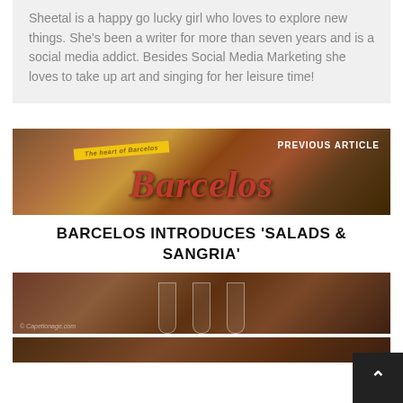Sheetal is a happy go lucky girl who loves to explore new things. She's been a writer for more than seven years and is a social media addict. Besides Social Media Marketing she loves to take up art and singing for her leisure time!
PREVIOUS ARTICLE
[Figure (photo): Barcelos restaurant sign with red stylized cursive logo text on brown wooden background with yellow ribbon accent]
BARCELOS INTRODUCES 'SALADS & SANGRIA'
[Figure (photo): Wine glasses on a wooden table background with watermark text]
[Figure (photo): Partial bottom image, dark brown restaurant interior]